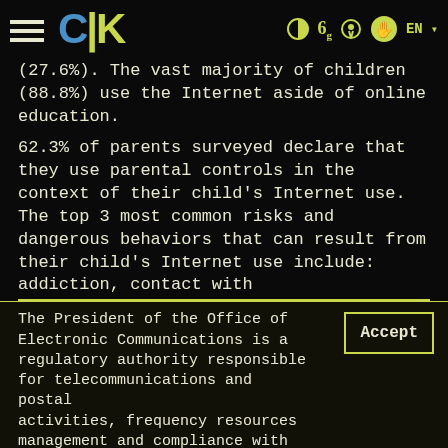CIK [navigation header with hamburger menu, logo, and icons: contrast, font size, search, sign language, EN language selector]
(27.6%). The vast majority of children (88.8%) use the Internet aside of online education.
62.3% of parents surveyed declare that they use parental controls in the context of their child's Internet use. The top 3 most common risks and dangerous behaviors that can result from their child's Internet use include: addiction, contact with
The President of the Office of Electronic Communications is a regulatory authority responsible for telecommunications and postal activities, frequency resources management and compliance with the criteria related to electromagnetic compatibility.
Our website uses cookies. By using our website, you agree to the storage o use of cookies. For more information, please see our Privacy policy. I accept the privacy and cookie policy of the website. Personal data protection.